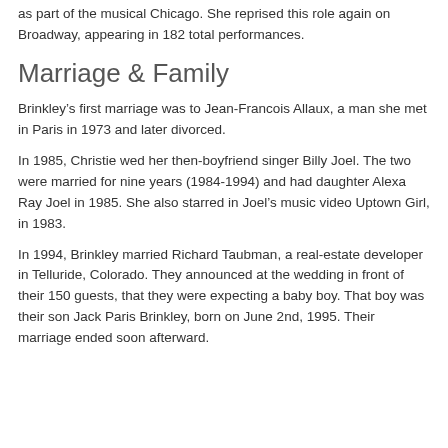as part of the musical Chicago. She reprised this role again on Broadway, appearing in 182 total performances.
Marriage & Family
Brinkley’s first marriage was to Jean-Francois Allaux, a man she met in Paris in 1973 and later divorced.
In 1985, Christie wed her then-boyfriend singer Billy Joel. The two were married for nine years (1984-1994) and had daughter Alexa Ray Joel in 1985. She also starred in Joel’s music video Uptown Girl, in 1983.
In 1994, Brinkley married Richard Taubman, a real-estate developer in Telluride, Colorado. They announced at the wedding in front of their 150 guests, that they were expecting a baby boy. That boy was their son Jack Paris Brinkley, born on June 2nd, 1995. Their marriage ended soon afterward.